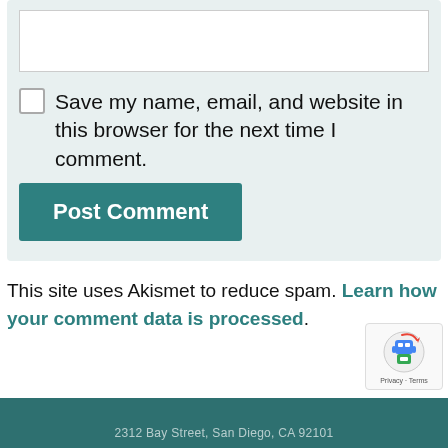[Figure (screenshot): White input text box (partially visible top of form)]
[Figure (screenshot): Checkbox (unchecked) for saving name, email, and website]
Save my name, email, and website in this browser for the next time I comment.
[Figure (screenshot): Post Comment button in teal/dark cyan color]
This site uses Akismet to reduce spam. Learn how your comment data is processed.
[Figure (logo): reCAPTCHA badge with robot icon, Privacy · Terms text]
2312 Bay Street, San Diego, CA 92101